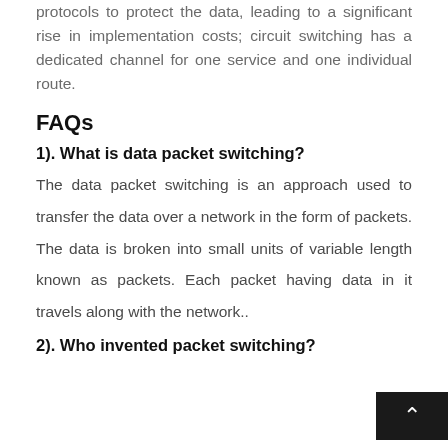protocols to protect the data, leading to a significant rise in implementation costs; circuit switching has a dedicated channel for one service and one individual route.
FAQs
1). What is data packet switching?
The data packet switching is an approach used to transfer the data over a network in the form of packets. The data is broken into small units of variable length known as packets. Each packet having data in it travels along with the network..
2). Who invented packet switching?